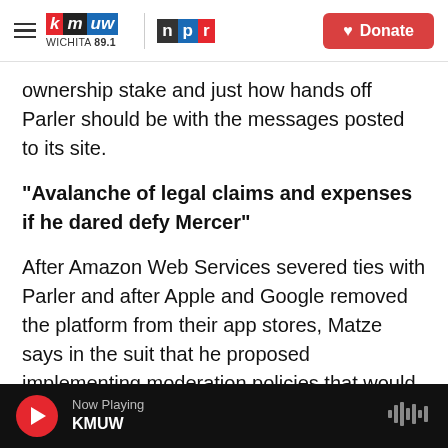KMUW WICHITA 89.1 | NPR — Donate
ownership stake and just how hands off Parler should be with the messages posted to its site.
"Avalanche of legal claims and expenses if he dared defy Mercer"
After Amazon Web Services severed ties with Parler and after Apple and Google removed the platform from their app stores, Matze says in the suit that he proposed implementing moderation policies that would "preserve the right of free expression for all points of view, but would preclude content that is inciting violence and acts of
Now Playing KMUW